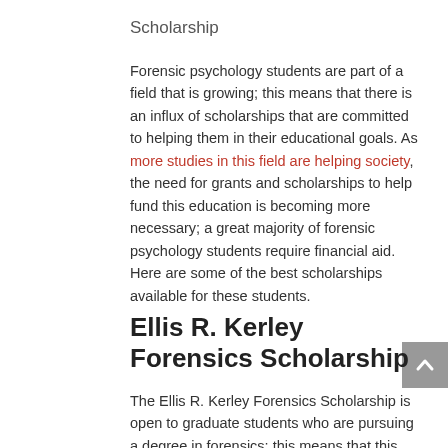Scholarship
Forensic psychology students are part of a field that is growing; this means that there is an influx of scholarships that are committed to helping them in their educational goals. As more studies in this field are helping society, the need for grants and scholarships to help fund this education is becoming more necessary; a great majority of forensic psychology students require financial aid. Here are some of the best scholarships available for these students.
Ellis R. Kerley Forensics Scholarship
The Ellis R. Kerley Forensics Scholarship is open to graduate students who are pursuing a degree in forensics; this means that this scholarship is also